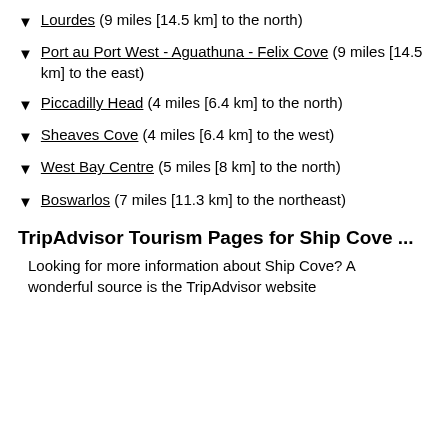Lourdes (9 miles [14.5 km] to the north)
Port au Port West - Aguathuna - Felix Cove (9 miles [14.5 km] to the east)
Piccadilly Head (4 miles [6.4 km] to the north)
Sheaves Cove (4 miles [6.4 km] to the west)
West Bay Centre (5 miles [8 km] to the north)
Boswarlos (7 miles [11.3 km] to the northeast)
TripAdvisor Tourism Pages for Ship Cove ...
Looking for more information about Ship Cove? A wonderful source is the TripAdvisor website